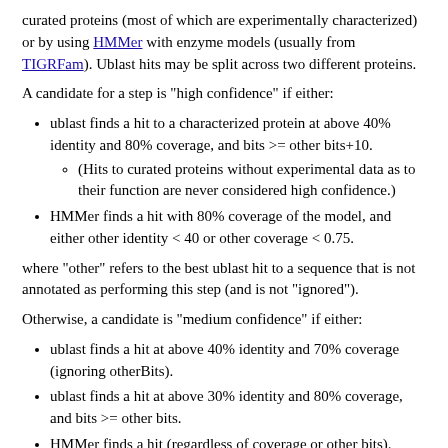curated proteins (most of which are experimentally characterized) or by using HMMer with enzyme models (usually from TIGRFam). Ublast hits may be split across two different proteins.
A candidate for a step is "high confidence" if either:
ublast finds a hit to a characterized protein at above 40% identity and 80% coverage, and bits >= other bits+10.
(Hits to curated proteins without experimental data as to their function are never considered high confidence.)
HMMer finds a hit with 80% coverage of the model, and either other identity < 40 or other coverage < 0.75.
where "other" refers to the best ublast hit to a sequence that is not annotated as performing this step (and is not "ignored").
Otherwise, a candidate is "medium confidence" if either:
ublast finds a hit at above 40% identity and 70% coverage (ignoring otherBits).
ublast finds a hit at above 30% identity and 80% coverage, and bits >= other bits.
HMMer finds a hit (regardless of coverage or other bits).
Other blast bits with at least 50% coverage are "low confidence."